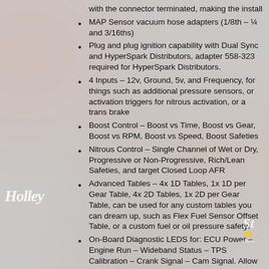with the connector terminated, making the install
MAP Sensor vacuum hose adapters (1/8th – ¼ and 3/16ths)
Plug and plug ignition capability with Dual Sync and HyperSpark Distributors, adapter 558-323 required for HyperSpark Distributors.
4 Inputs – 12v, Ground, 5v, and Frequency, for things such as additional pressure sensors, or activation triggers for nitrous activation, or a trans brake
Boost Control – Boost vs Time, Boost vs Gear, Boost vs RPM, Boost vs Speed, Boost Safeties
Nitrous Control – Single Channel of Wet or Dry, Progressive or Non-Progressive, Rich/Lean Safeties, and target Closed Loop AFR
Advanced Tables – 4x 1D Tables, 1x 1D per Gear Table, 4x 2D Tables, 1x 2D per Gear Table, can be used for any custom tables you can dream up, such as Flex Fuel Sensor Offset Table, or a custom fuel or oil pressure safety!
On-Board Diagnostic LEDS for: ECU Power – Engine Run – Wideband Status – TPS Calibration – Crank Signal – Cam Signal. Allow you to identify any Critical